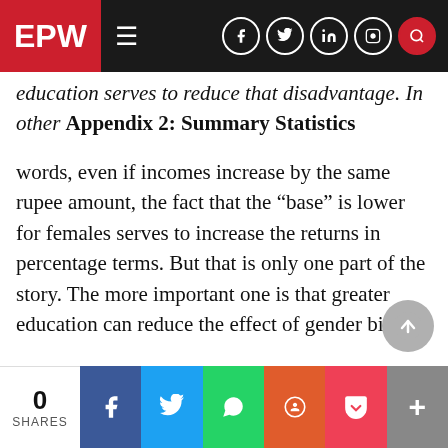EPW
education serves to reduce that disadvantage. In other Appendix 2: Summary Statistics
words, even if incomes increase by the same rupee amount, the fact that the “base” is lower for females serves to increase the returns in percentage terms. But that is only one part of the story. The more important one is that greater education can reduce the effect of gender bias.
There is a general consensus that despite improvements in selfassessed literacy and improvements in enrolments, educational achievement of large masses leaves much to be